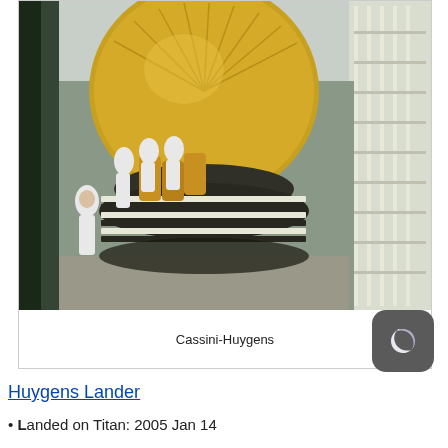[Figure (photo): Photograph of the Cassini-Huygens spacecraft being assembled or tested in a facility. Engineers in white cleanroom suits work around the spacecraft. A large gold-colored spherical antenna dish is prominent at the top. The spacecraft has black and white striped circular structures below the dish. White scaffold/cage structures are visible on the right side. The environment appears to be a high-bay cleanroom or test facility.]
Cassini-Huygens
Huygens Lander
•Landed on Titan: 2005 Jan 14